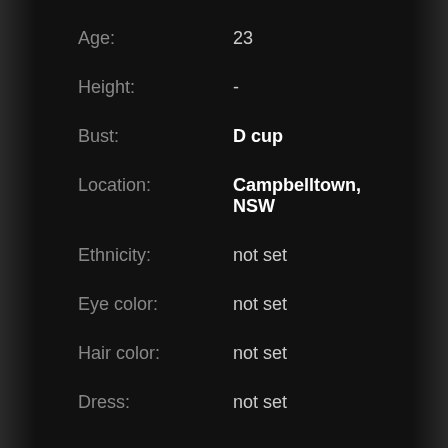Age: 23
Height: -
Bust: D cup
Location: Campbelltown, NSW
Ethnicity: not set
Eye color: not set
Hair color: not set
Dress: not set
CONTACT ME
PHONE: 0405 944 194